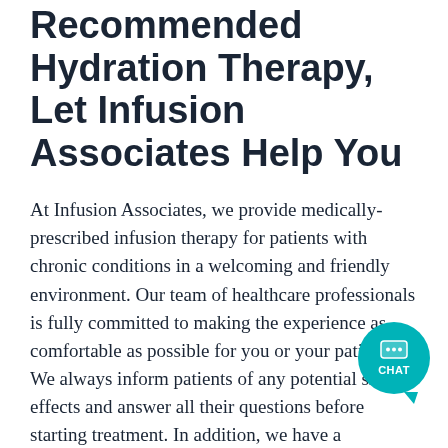Recommended Hydration Therapy, Let Infusion Associates Help You
At Infusion Associates, we provide medically-prescribed infusion therapy for patients with chronic conditions in a welcoming and friendly environment. Our team of healthcare professionals is fully committed to making the experience as comfortable as possible for you or your patients. We always inform patients of any potential side effects and answer all their questions before starting treatment. In addition, we have a Registered Pharmacist on-site to make the process as seamless as possible.
If you would like to refer a patient to us or want to inquire about the treatments we offer, you can